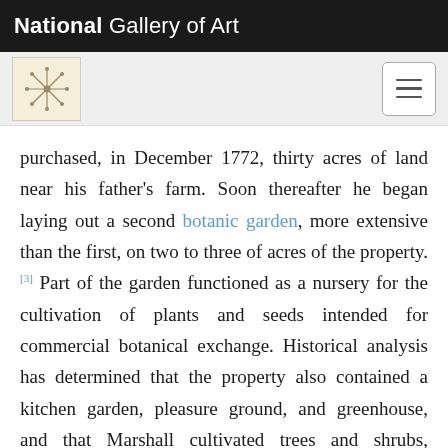National Gallery of Art
[Figure (logo): Art/botany decorative icon logo and hamburger menu button on gray navigation bar]
purchased, in December 1772, thirty acres of land near his father's farm. Soon thereafter he began laying out a second botanic garden, more extensive than the first, on two to three of acres of the property.[3] Part of the garden functioned as a nursery for the cultivation of plants and seeds intended for commercial botanical exchange. Historical analysis has determined that the property also contained a kitchen garden, pleasure ground, and greenhouse, and that Marshall cultivated trees and shrubs, herbaceous perennials (both indigenous and exotic), and plants valuable for their medicinal or economic utility.[4]